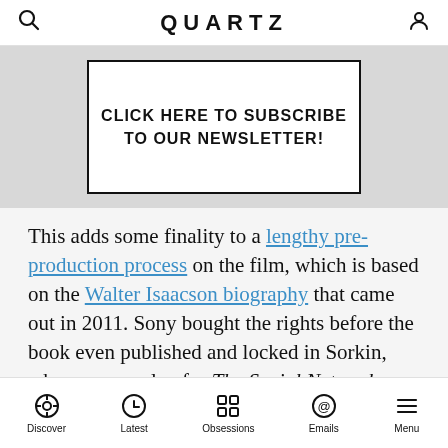QUARTZ
[Figure (other): Newsletter subscription banner: white box with border on grey background reading CLICK HERE TO SUBSCRIBE TO OUR NEWSLETTER!]
This adds some finality to a lengthy pre-production process on the film, which is based on the Walter Isaacson biography that came out in 2011. Sony bought the rights before the book even published and locked in Sorkin, whose screenplay for The Social Network won an Academy Award, as the screenwriter. There were talks of David Fincher directing, before Danny Boyle (of Slumdog Millionaire fame) came on as director, and the actor Leonardo DiCaprio was at one time attached to the project, but DiCaprio fell through also. In the time it took
Discover | Latest | Obsessions | Emails | Menu